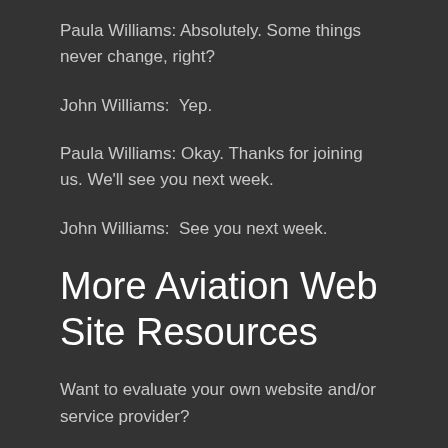Paula Williams: Absolutely. Some things never change, right?
John Williams:  Yep.
Paula Williams: Okay. Thanks for joining us. We'll see you next week.
John Williams:  See you next week.
More Aviation Web Site Resources
Want to evaluate your own website and/or service provider?